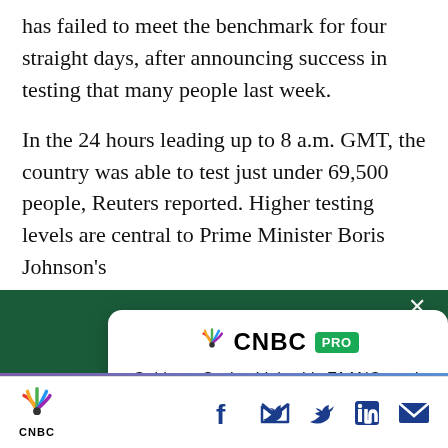has failed to meet the benchmark for four straight days, after announcing success in testing that many people last week.
In the 24 hours leading up to 8 a.m. GMT, the country was able to test just under 69,500 people, Reuters reported. Higher testing levels are central to Prime Minister Boris Johnson’s
[Figure (screenshot): CNBC PRO advertisement card on dark green background. Shows CNBC PRO logo, headline 'Goldman Sachs thinks this FAANG stock is a sell — and gives it downside of more than 20%', and a green SUBSCRIBE NOW button. Has a close X button in top-right corner.]
CNBC logo with social sharing icons: Facebook, Twitter, LinkedIn, Email